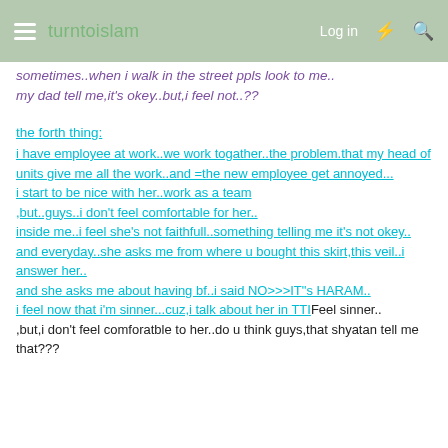turntoislam  Log in
sometimes..when i walk in the street ppls look to me.. my dad tell me,it's okey..but,i feel not..??
the forth thing:
i have employee at work..we work togather..the problem.that my head of units give me all the work..and =the new employee get annoyed...
i start to be nice with her..work as a team
,but..guys..i don't feel comfortable for her..
inside me..i feel she's not faithfull..something telling me it's not okey..
and everyday..she asks me from where u bought this skirt,this veil..i answer her..
and she asks me about having bf..i said NO>>>IT"s HARAM..
i feel now that i'm sinner...cuz,i talk about her in TTIFeel sinner..
,but,i don't feel comforatble to her..do u think guys,that shyatan tell me that???